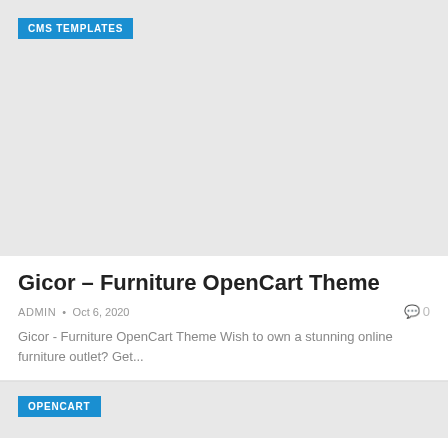[Figure (other): Placeholder image area with light gray background and CMS TEMPLATES badge in top-left corner]
Gicor – Furniture OpenCart Theme
ADMIN • Oct 6, 2020    🗨 0
Gicor - Furniture OpenCart Theme Wish to own a stunning online furniture outlet? Get...
[Figure (other): Placeholder image area with light gray background and OPENCART badge in top-left corner]